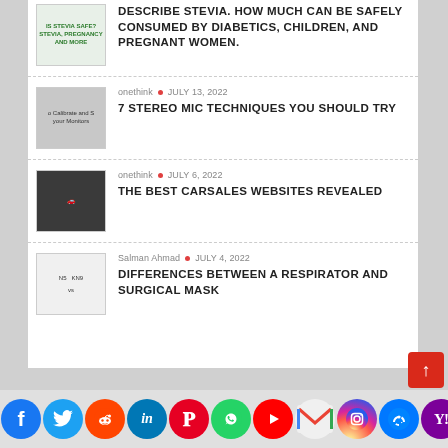DESCRIBE STEVIA. HOW MUCH CAN BE SAFELY CONSUMED BY DIABETICS, CHILDREN, AND PREGNANT WOMEN.
onethink • JULY 13, 2022 — 7 STEREO MIC TECHNIQUES YOU SHOULD TRY
onethink • JULY 6, 2022 — THE BEST CARSALES WEBSITES REVEALED
Salman Ahmad • JULY 4, 2022 — DIFFERENCES BETWEEN A RESPIRATOR AND SURGICAL MASK
[Figure (screenshot): Social media icon bar at bottom: Facebook, Twitter, Reddit, LinkedIn, Pinterest, WhatsApp, YouTube, Gmail, Instagram, Messenger, Yahoo icons]